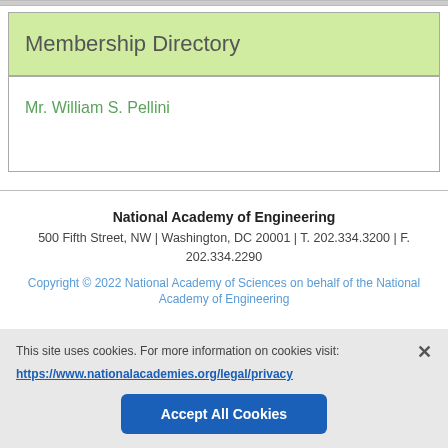Membership Directory
Mr. William S. Pellini
National Academy of Engineering
500 Fifth Street, NW | Washington, DC 20001 | T. 202.334.3200 | F. 202.334.2290
Copyright © 2022 National Academy of Sciences on behalf of the National Academy of Engineering
This site uses cookies. For more information on cookies visit: https://www.nationalacademies.org/legal/privacy
Accept All Cookies